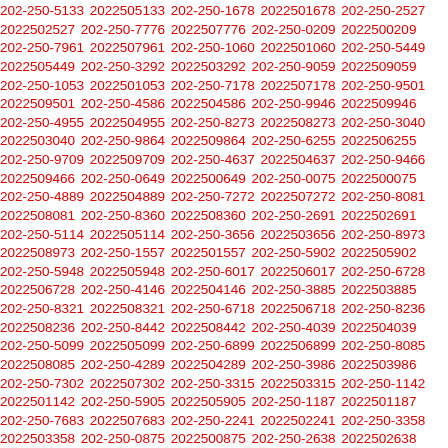202-250-5133 2022505133 202-250-1678 2022501678 202-250-2527 2022502527 202-250-7776 2022507776 202-250-0209 2022500209 202-250-7961 2022507961 202-250-1060 2022501060 202-250-5449 2022505449 202-250-3292 2022503292 202-250-9059 2022509059 202-250-1053 2022501053 202-250-7178 2022507178 202-250-9501 2022509501 202-250-4586 2022504586 202-250-9946 2022509946 202-250-4955 2022504955 202-250-8273 2022508273 202-250-3040 2022503040 202-250-9864 2022509864 202-250-6255 2022506255 202-250-9709 2022509709 202-250-4637 2022504637 202-250-9466 2022509466 202-250-0649 2022500649 202-250-0075 2022500075 202-250-4889 2022504889 202-250-7272 2022507272 202-250-8081 2022508081 202-250-8360 2022508360 202-250-2691 2022502691 202-250-5114 2022505114 202-250-3656 2022503656 202-250-8973 2022508973 202-250-1557 2022501557 202-250-5902 2022505902 202-250-5948 2022505948 202-250-6017 2022506017 202-250-6728 2022506728 202-250-4146 2022504146 202-250-3885 2022503885 202-250-8321 2022508321 202-250-6718 2022506718 202-250-8236 2022508236 202-250-8442 2022508442 202-250-4039 2022504039 202-250-5099 2022505099 202-250-6899 2022506899 202-250-8085 2022508085 202-250-4289 2022504289 202-250-3986 2022503986 202-250-7302 2022507302 202-250-3315 2022503315 202-250-1142 2022501142 202-250-5905 2022505905 202-250-1187 2022501187 202-250-7683 2022507683 202-250-2241 2022502241 202-250-3358 2022503358 202-250-0875 2022500875 202-250-2638 2022502638 202-250-3680 2022503680 202-250-7588 2022507588 202-250-5182